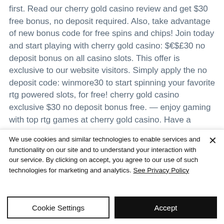first. Read our cherry gold casino review and get $30 free bonus, no deposit required. Also, take advantage of new bonus code for free spins and chips! Join today and start playing with cherry gold casino: $€$£30 no deposit bonus on all casino slots. This offer is exclusive to our website visitors. Simply apply the no deposit code: winmore30 to start spinning your favorite rtg powered slots, for free! cherry gold casino exclusive $30 no deposit bonus free. — enjoy gaming with top rtg games at cherry gold casino. Have a
We use cookies and similar technologies to enable services and functionality on our site and to understand your interaction with our service. By clicking on accept, you agree to our use of such technologies for marketing and analytics. See Privacy Policy